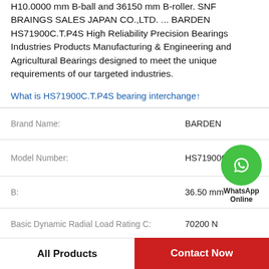H10.0000 mm B-ball and 36150 mm B-roller. SNF BRAINGS SALES JAPAN CO.,LTD. ... BARDEN HS71900C.T.P4S High Reliability Precision Bearings Industries Products Manufacturing & Engineering and Agricultural Bearings designed to meet the unique requirements of our targeted industries.
What is HS71900C.T.P4S bearing interchange↑
| Property | Value |
| --- | --- |
| Brand Name: | BARDEN |
| Model Number: | HS71900C.T.P4S |
| B: | 36.50 mm |
| Basic Dynamic Radial Load Rating C: | 70200 N |
| D: | 110.0000 mm |
| Grease Speed Rating n1: | 3800 rpm |
All Products
Contact Now